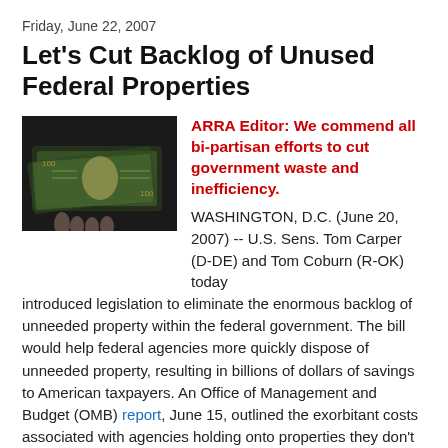Friday, June 22, 2007
Let's Cut Backlog of Unused Federal Properties
[Figure (photo): Photo of money/cash bills, dark background]
ARRA Editor: We commend all bi-partisan efforts to cut government waste and inefficiency. WASHINGTON, D.C. (June 20, 2007) -- U.S. Sens. Tom Carper (D-DE) and Tom Coburn (R-OK) today introduced legislation to eliminate the enormous backlog of unneeded property within the federal government. The bill would help federal agencies more quickly dispose of unneeded property, resulting in billions of dollars of savings to American taxpayers. An Office of Management and Budget (OMB) report, June 15, outlined the exorbitant costs associated with agencies holding onto properties they don't need. Excessive rules and regulations have resulted in a backlog of more than 21,000 properties worth $18 billion. The proposed bill would temporarily ease the property